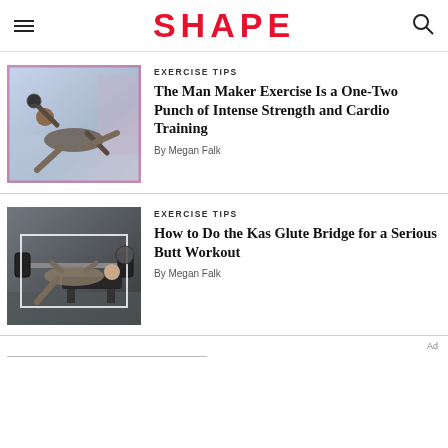SHAPE
[Figure (photo): Woman doing kettlebell exercise in a gym, side plank position with weights]
EXERCISE TIPS
The Man Maker Exercise Is a One-Two Punch of Intense Strength and Cardio Training
By Megan Falk
[Figure (photo): Woman performing a barbell bench press / glute bridge exercise in a gym]
EXERCISE TIPS
How to Do the Kas Glute Bridge for a Serious Butt Workout
By Megan Falk
Ad